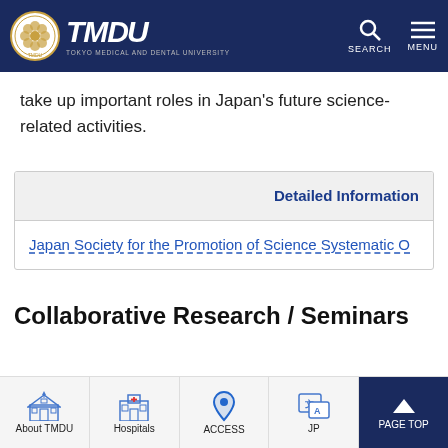TMDU - Tokyo Medical and Dental University
take up important roles in Japan's future science-related activities.
| Detailed Information |
| --- |
| Japan Society for the Promotion of Science Systematic O |
Collaborative Research / Seminars
About TMDU | Hospitals | ACCESS | JP | PAGE TOP